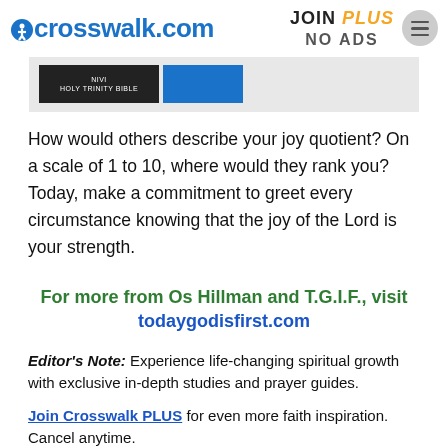crosswalk.com | JOIN PLUS NO ADS
[Figure (other): Advertisement banner with dark background and blue accent]
How would others describe your joy quotient? On a scale of 1 to 10, where would they rank you? Today, make a commitment to greet every circumstance knowing that the joy of the Lord is your strength.
For more from Os Hillman and T.G.I.F., visit todaygodisfirst.com
Editor's Note: Experience life-changing spiritual growth with exclusive in-depth studies and prayer guides.
Join Crosswalk PLUS for even more faith inspiration. Cancel anytime.